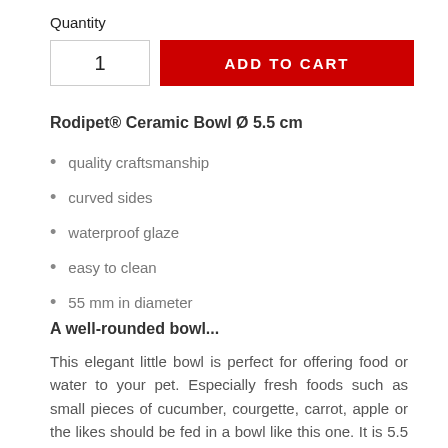Quantity
1
ADD TO CART
Rodipet® Ceramic Bowl Ø 5.5 cm
quality craftsmanship
curved sides
waterproof glaze
easy to clean
55 mm in diameter
A well-rounded bowl...
This elegant little bowl is perfect for offering food or water to your pet. Especially fresh foods such as small pieces of cucumber, courgette, carrot, apple or the likes should be fed in a bowl like this one. It is 5.5 cm in diameter and about 3 cm in height, and its curved sides help to keep the contents free from